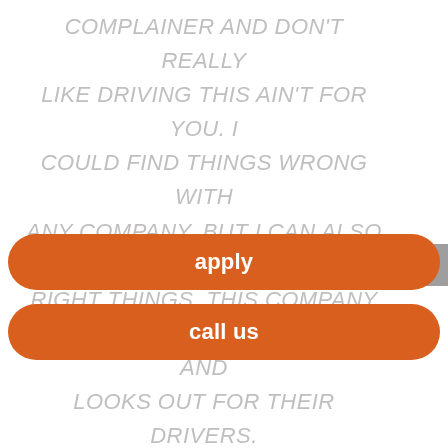COMPLAINER AND DON'T REALLY LIKE DRIVING THIS AIN'T FOR YOU. I COULD FIND THINGS WRONG WITH ANY COMPANY. BUT I CAN ALSO FIND RIGHT THINGS. THIS COMPANY MAINTAINS THEIR EQUIPMENT AND LOOKS OUT FOR THEIR DRIVERS. SIMPLE AS THAT."
apply
call us